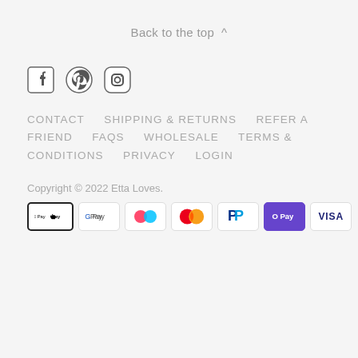Back to the top ∧
[Figure (illustration): Social media icons: Facebook, Pinterest, Instagram]
CONTACT   SHIPPING & RETURNS   REFER A FRIEND   FAQS   WHOLESALE   TERMS & CONDITIONS   PRIVACY   LOGIN
Copyright © 2022 Etta Loves.
[Figure (illustration): Payment method icons: Apple Pay, Google Pay, Klarna, Mastercard, PayPal, O Pay, Visa]